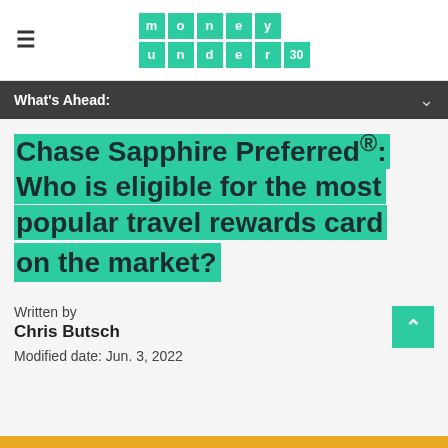money under 30 (logo)
What's Ahead:
Chase Sapphire Preferred®: Who is eligible for the most popular travel rewards card on the market?
Written by
Chris Butsch
Modified date: Jun. 3, 2022